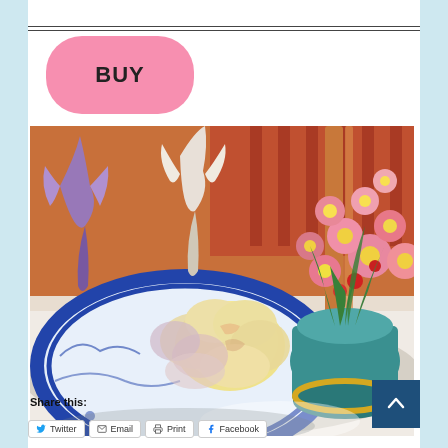[Figure (other): Pink BUY button with rounded rectangle shape]
[Figure (photo): Oil painting still life with flowers in a blue and white plate, white roses/peonies, irises, and a vase of pink daisies/gerberas on a warm orange-red background]
Share this:
Twitter  Email  Print  Facebook